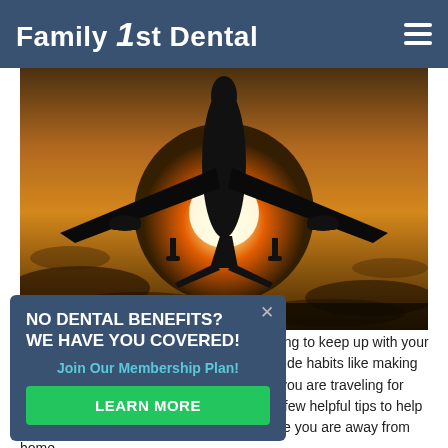Family 1st Dental
[Figure (photo): Silhouette of a commercial airplane flying low against a dramatic golden sunset sky with clouds.]
[Figure (infographic): Popup overlay with dark blue background reading: NO DENTAL BENEFITS? WE HAVE YOU COVERED! Join Our Membership Plan! LEARN MORE button in green.]
When you are traveling, it can be challenging to keep up with your oral health. For many people, this can include habits like making time to properly brush and floss. Whether you are traveling for business or pleasure, we have gathered a few helpful tips to help you stay on track with your oral health while you are away from home.